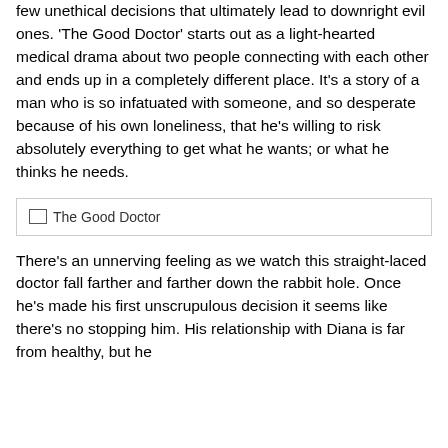few unethical decisions that ultimately lead to downright evil ones. 'The Good Doctor' starts out as a light-hearted medical drama about two people connecting with each other and ends up in a completely different place. It's a story of a man who is so infatuated with someone, and so desperate because of his own loneliness, that he's willing to risk absolutely everything to get what he wants; or what he thinks he needs.
[Figure (photo): Image placeholder labeled 'The Good Doctor']
There's an unnerving feeling as we watch this straight-laced doctor fall farther and farther down the rabbit hole. Once he's made his first unscrupulous decision it seems like there's no stopping him. His relationship with Diana is far from healthy, but he...